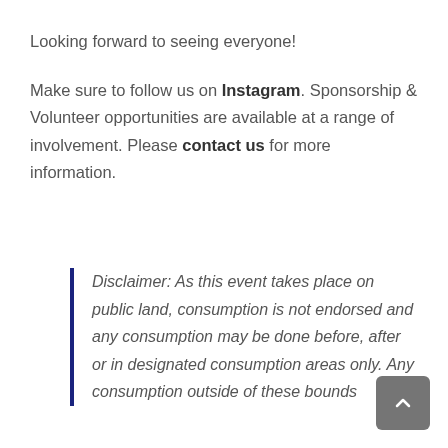Looking forward to seeing everyone!
Make sure to follow us on Instagram. Sponsorship & Volunteer opportunities are available at a range of involvement. Please contact us for more information.
Disclaimer: As this event takes place on public land, consumption is not endorsed and any consumption may be done before, after or in designated consumption areas only. Any consumption outside of these bounds